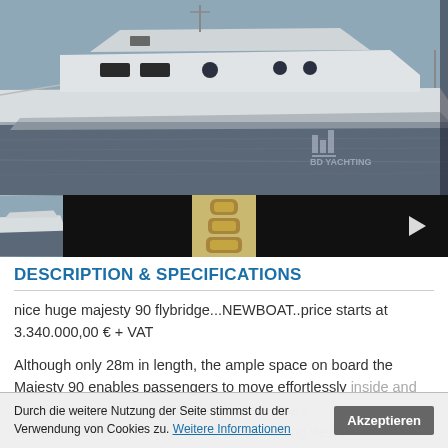[Figure (photo): Large photograph of a white luxury Majesty 90 flybridge yacht on water, with a Marina/dock in background. Logo visible bottom right.]
[Figure (photo): Thumbnail strip with 7 images: yacht exterior photo, 2 dark interior photos, floor plan schematic, 3 dark thumbnails, and a video play button thumbnail.]
DESCRIPTION & SPECIFICATIONS
nice huge majesty 90 flybridge...NEWBOAT..price starts at 3.340.000,00 € + VAT
Although only 28m in length, the ample space on board the Majesty 90 enables passengers to move effortlessly inside and outside the yacht. The closed deck also offers privacy, even when enjoying the aft sunbathing deck. Being a large ideal luxury yacht, the...